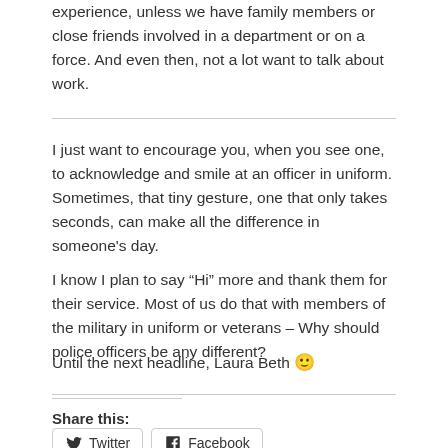experience, unless we have family members or close friends involved in a department or on a force. And even then, not a lot want to talk about work.
I just want to encourage you, when you see one, to acknowledge and smile at an officer in uniform. Sometimes, that tiny gesture, one that only takes seconds, can make all the difference in someone's day.
I know I plan to say “Hi” more and thank them for their service. Most of us do that with members of the military in uniform or veterans – Why should police officers be any different?
Until the next headline, Laura Beth 🙂
Share this:
Twitter  Facebook